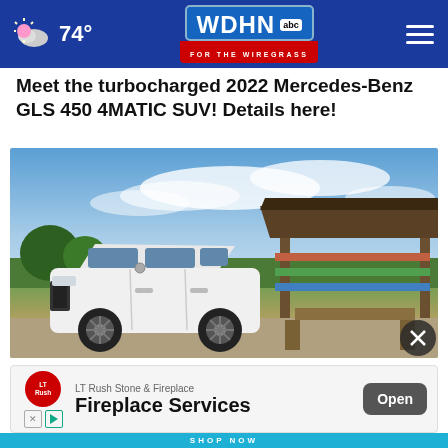74° WDHN ABC FOR THE WIREGRASS
Meet the turbocharged 2022 Mercedes-Benz GLS 450 4MATIC SUV! Details here!
[Figure (photo): White 2022 Mercedes-Benz GLS 450 4MATIC SUV parked on gravel in front of a wooden pavilion structure holding canoes/kayaks, with a blue sky and trees in the background]
LT Rush Stone & Fireplace Fireplace Services Open